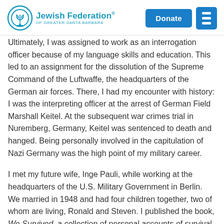Jewish Federation of Greater Santa Barbara — Donate / Menu
Ultimately, I was assigned to work as an interrogation officer because of my language skills and education. This led to an assignment for the dissolution of the Supreme Command of the Luftwaffe, the headquarters of the German air forces. There, I had my encounter with history: I was the interpreting officer at the arrest of German Field Marshall Keitel. At the subsequent war crimes trial in Nuremberg, Germany, Keitel was sentenced to death and hanged. Being personally involved in the capitulation of Nazi Germany was the high point of my military career.
I met my future wife, Inge Pauli, while working at the headquarters of the U.S. Military Government in Berlin. We married in 1948 and had four children together, two of whom are living, Ronald and Steven. I published the book, We Survived, a collection of personal accounts of survival in Nazi Germany, which I wrote before completing my doctoral studies in